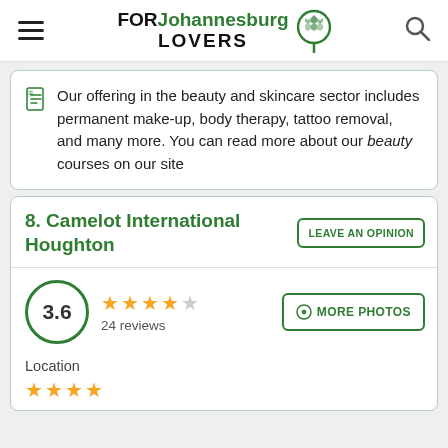FOR Johannesburg LOVERS
Our offering in the beauty and skincare sector includes permanent make-up, body therapy, tattoo removal, and many more. You can read more about our beauty courses on our site
8. Camelot International Houghton
3.6 — 24 reviews
Location